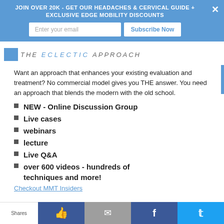JOIN OVER 20K - GET OUR HEADACHES & CERVICAL GUIDE + EXCLUSIVE EDGE MOBILITY DISCOUNTS
Enter your email
Subscribe Now
[Figure (logo): The Eclectic Approach logo with blue square and italic text]
Want an approach that enhances your existing evaluation and treatment? No commercial model gives you THE answer. You need an approach that blends the modern with the old school.
NEW - Online Discussion Group
Live cases
webinars
lecture
Live Q&A
over 600 videos - hundreds of techniques and more!
Checkout MMT Insiders
Shares | Like | Email | Facebook | Twitter